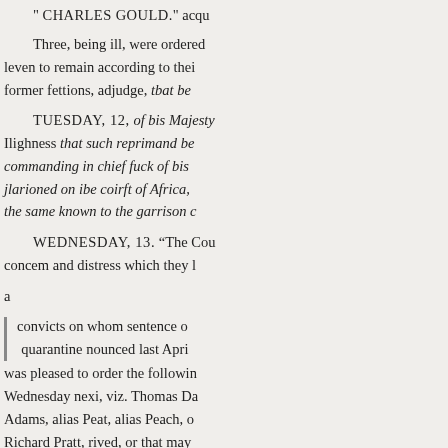" CHARLES GOULD." acqu
Three, being ill, were ordered leven to remain according to their former fettions, adjudge, tbat be
TUESDAY, 12, of bis Majesty Ilighness that such reprimand be commanding in chief fuck of bis jlarioned on ibe coirft of Africa, the same known to the garrison c
WEDNESDAY, 13. “The Cou concem and distress which they l
a
convicts on whom sentence o quarantine nounced last April was pleased to order the followin Wednesday nexi, viz. Thomas Da Adams, alias Peat, alias Peach, o Richard Pratt, rived, or that may places, be permitted to discharge without unpacking, opening, and performing any quarantine; Jiam person taking tum. John Simfiel